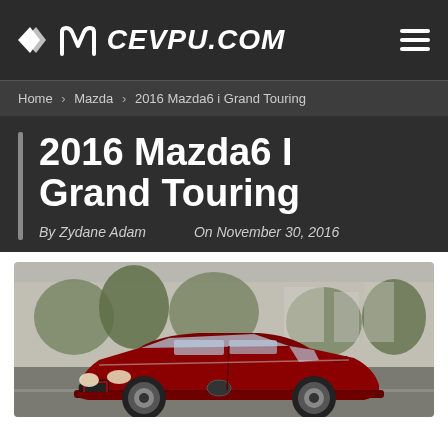CEVPU.COM
Home › Mazda › 2016 Mazda6 i Grand Touring
2016 Mazda6 I Grand Touring
By Zydane Adam   On November 30, 2016
[Figure (photo): Red 2016 Mazda6 i Grand Touring sedan driving on a road with blurred urban background featuring trees and buildings.]